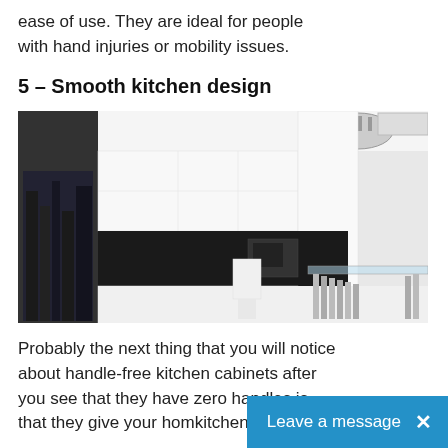ease of use. They are ideal for people with hand injuries or mobility issues.
5 – Smooth kitchen design
[Figure (photo): Modern handleless kitchen with glossy white cabinets, black splashback, glass dining table with chrome legs, chandelier, and city mural panel on the left.]
Probably the next thing that you will notice about handle-free kitchen cabinets after you see that they have zero handles is that they give your hom kitchen design. To l t...